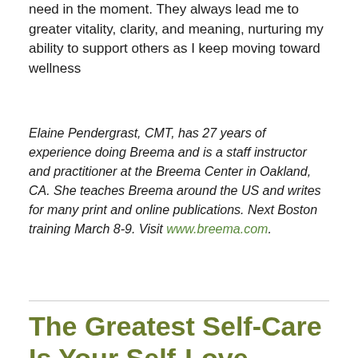need in the moment. They always lead me to greater vitality, clarity, and meaning, nurturing my ability to support others as I keep moving toward wellness
Elaine Pendergrast, CMT, has 27 years of experience doing Breema and is a staff instructor and practitioner at the Breema Center in Oakland, CA. She teaches Breema around the US and writes for many print and online publications. Next Boston training March 8-9. Visit www.breema.com.
The Greatest Self-Care Is Your Self-Love
by Jo Jayson